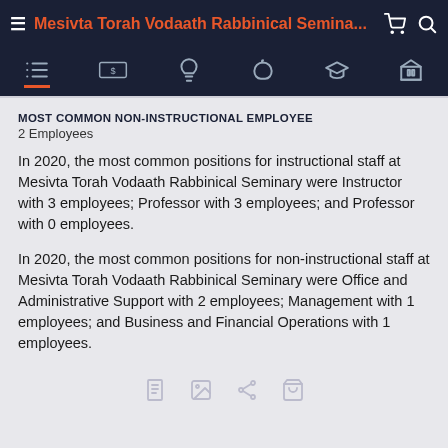Mesivta Torah Vodaath Rabbinical Semina...
MOST COMMON NON-INSTRUCTIONAL EMPLOYEE
2 Employees
In 2020, the most common positions for instructional staff at Mesivta Torah Vodaath Rabbinical Seminary were Instructor with 3 employees; Professor with 3 employees; and Professor with 0 employees.
In 2020, the most common positions for non-instructional staff at Mesivta Torah Vodaath Rabbinical Seminary were Office and Administrative Support with 2 employees; Management with 1 employees; and Business and Financial Operations with 1 employees.